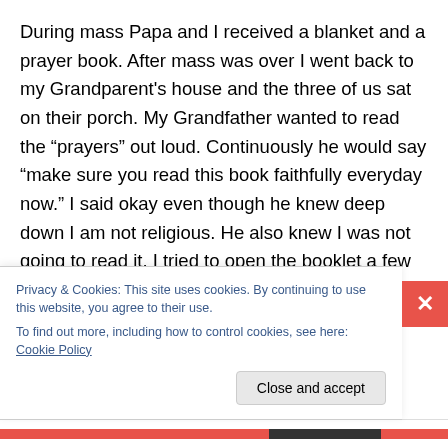During mass Papa and I received a blanket and a prayer book. After mass was over I went back to my Grandparent's house and the three of us sat on their porch. My Grandfather wanted to read the “prayers” out loud. Continuously he would say “make sure you read this book faithfully everyday now.” I said okay even though he knew deep down I am not religious. He also knew I was not going to read it. I tried to open the booklet a few times but I couldn’t. I am glad I went to church with my Grandparent’s. My Grandfather was so
Privacy & Cookies: This site uses cookies. By continuing to use this website, you agree to their use.
To find out more, including how to control cookies, see here: Cookie Policy
Close and accept